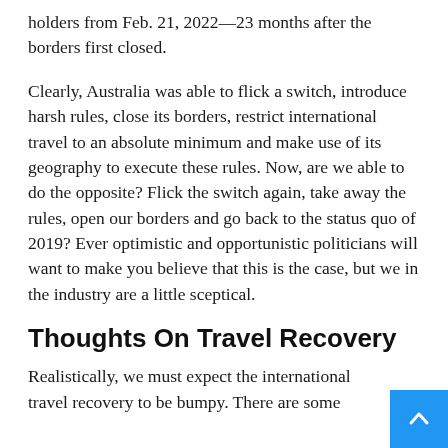holders from Feb. 21, 2022—23 months after the borders first closed.
Clearly, Australia was able to flick a switch, introduce harsh rules, close its borders, restrict international travel to an absolute minimum and make use of its geography to execute these rules. Now, are we able to do the opposite? Flick the switch again, take away the rules, open our borders and go back to the status quo of 2019? Ever optimistic and opportunistic politicians will want to make you believe that this is the case, but we in the industry are a little sceptical.
Thoughts On Travel Recovery
Realistically, we must expect the international travel recovery to be bumpy. There are some